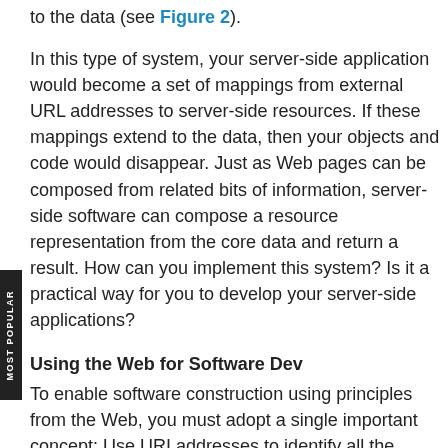to the data (see Figure 2).
In this type of system, your server-side application would become a set of mappings from external URL addresses to server-side resources. If these mappings extend to the data, then your objects and code would disappear. Just as Web pages can be composed from related bits of information, server-side software can compose a resource representation from the core data and return a result. How can you implement this system? Is it a practical way for you to develop your server-side applications?
Using the Web for Software Dev
To enable software construction using principles from the Web, you must adopt a single important concept: Use URI addresses to identify all the elements in your system. These elements include resources, services, information channels, and program code. To create a URI address, such as a URL, you use a scheme, such as http or ftp,